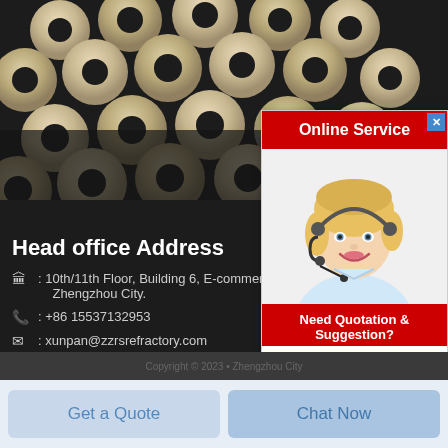[Figure (photo): Background photo of ceramic/refractory balls stacked together, with dark background. An online service popup widget overlays the right side showing a customer service representative (blonde woman with headset) smiling.]
Head office Address
🏛 : 10th/11th Floor, Building 6, E-commerce Port,Da Zhengzhou City.
☎ : +86 15537132953
✉ : xunpan@zzrsrefractory.com
Online Service
Need Quotation & Suggestion?
Free Chat
Get a Quote
Chat Now